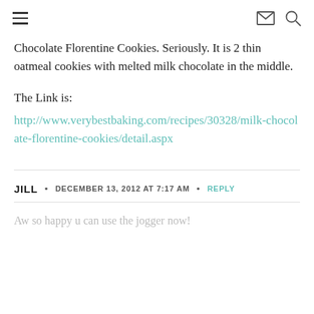[hamburger menu icon] [email icon] [search icon]
Chocolate Florentine Cookies. Seriously. It is 2 thin oatmeal cookies with melted milk chocolate in the middle.
The Link is:
http://www.verybestbaking.com/recipes/30328/milk-chocolate-florentine-cookies/detail.aspx
JILL • DECEMBER 13, 2012 AT 7:17 AM • REPLY
Aw so happy u can use the jogger now!